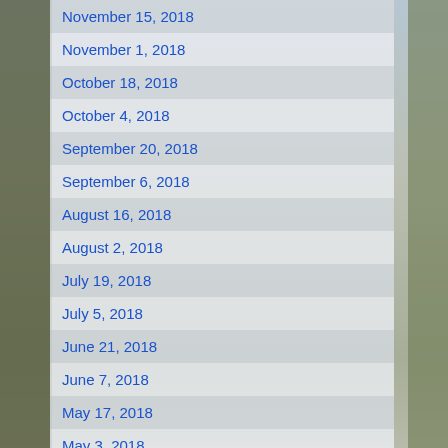November 15, 2018
November 1, 2018
October 18, 2018
October 4, 2018
September 20, 2018
September 6, 2018
August 16, 2018
August 2, 2018
July 19, 2018
July 5, 2018
June 21, 2018
June 7, 2018
May 17, 2018
May 3, 2018
April 19, 2018
April 5, 2018